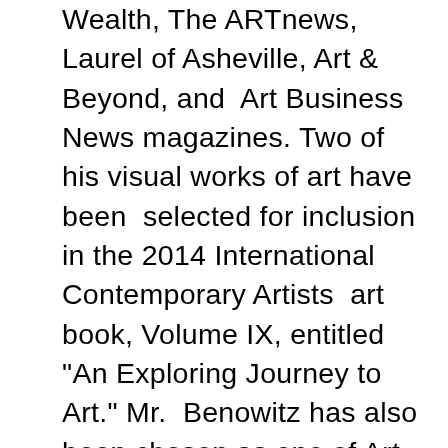Wealth, The ARTnews, Laurel of Asheville, Art & Beyond, and Art Business News magazines. Two of his visual works of art have been selected for inclusion in the 2014 International Contemporary Artists art book, Volume IX, entitled "An Exploring Journey to Art." Mr. Benowitz has also been chosen as one of Art Business News' Top Emerging Artists for 2014, published in its fall edition. In July 2015, his work was on display at the Louvre in Paris. In March 2016 and 2018, he was presented with six Winner and Nominee Medals in the 9th & 11th Annual International Color Awards Competitions. Photo subjects include Nature, wildlife, people, architecture, and adventure travel. In the 2017 11th Annual Black & White Spider Awards, "Fog City," "Surf Slinky," and "Cigar Man" received Honorable Mention, Nominee, and Nominee awards, respectively. Published: National Geographic "Your Shot." Lifetime Achievement Award; Featured Artist, Marquis Who's Who, 2018-2019; Art & Beyond and SE Florida Style &